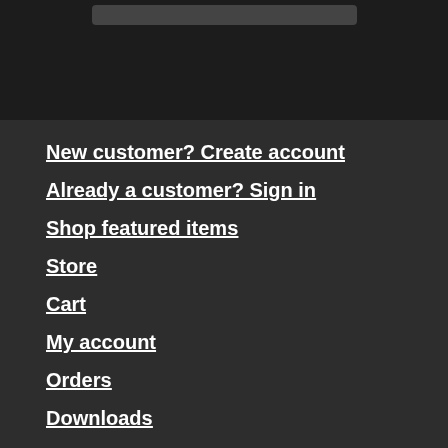[Figure (screenshot): Dark header bar area with a rounded rectangle element at top]
New customer? Create account
Already a customer? Sign in
Shop featured items
Store
Cart
My account
Orders
Downloads
Account details